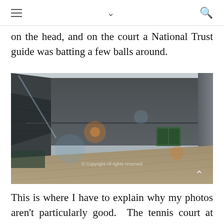≡ ∨ 🔍
on the head, and on the court a National Trust guide was batting a few balls around.
[Figure (photo): Interior view of a real tennis court at Falkland, showing dark grey stone walls, a sloped penthouse roof on the left side, a green door/window recess on the far wall, and a stone floor. Light flares visible. A copyright watermark appears at the bottom center. A chevron-up arrow is in the bottom right corner.]
This is where I have to explain why my photos aren't particularly good. The tennis court at Falkland,